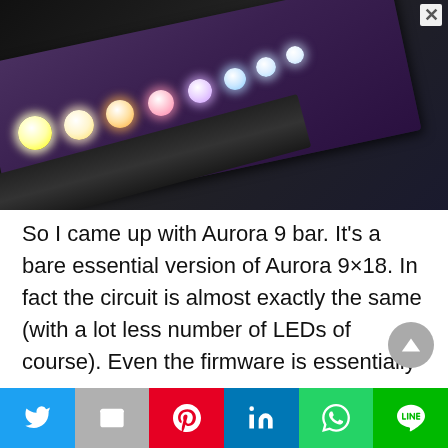[Figure (photo): A circuit board (PCB) with a row of colorful LEDs in rainbow order — yellow/white at left, orange, pink/red, purple, light blue, pale blue — photographed at an angle on a dark background.]
So I came up with Aurora 9 bar. It's a bare essential version of Aurora 9×18. In fact the circuit is almost exactly the same (with a lot less number of LEDs of course). Even the firmware is essentially the same. So it has the same super